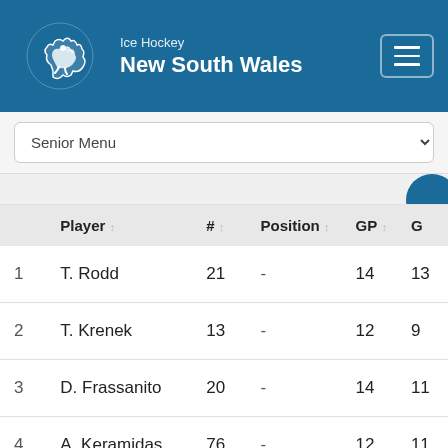Ice Hockey New South Wales
Senior Menu
|  | Player | # | Position | GP | G |
| --- | --- | --- | --- | --- | --- |
| 1 | T. Rodd | 21 | - | 14 | 13 |
| 2 | T. Krenek | 13 | - | 12 | 9 |
| 3 | D. Frassanito | 20 | - | 14 | 11 |
| 4 | A. Keramidas | 76 | - | 12 | 11 |
| 5 | J. Begg | 54 | - | 10 | 5 |
| 6 | D. Bowden | 23 | - | 13 |  |